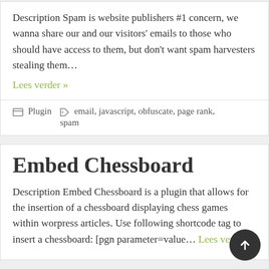Description Spam is website publishers #1 concern, we wanna share our and our visitors' emails to those who should have access to them, but don't want spam harvesters stealing them…
Lees verder »
Plugin   email, javascript, obfuscate, page rank, spam
Embed Chessboard
Description Embed Chessboard is a plugin that allows for the insertion of a chessboard displaying chess games within worpress articles. Use following shortcode tag to insert a chessboard: [pgn parameter=value… Lees verder